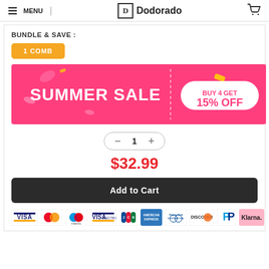MENU | Dodorado
BUNDLE & SAVE :
1 COMB
[Figure (infographic): Summer Sale banner with pink background, text 'SUMMER SALE' and 'BUY 4 GET 15% OFF' in a white pill badge]
1
$32.99
Add to Cart
[Figure (infographic): Row of payment method logos: Visa, Mastercard, Maestro, Visa Electron, JCB, American Express, Diners Club, Discover, PayPal, Klarna]